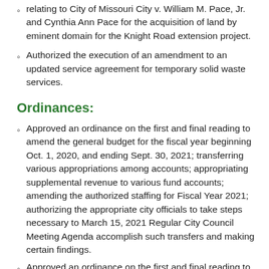relating to City of Missouri City v. William M. Pace, Jr. and Cynthia Ann Pace for the acquisition of land by eminent domain for the Knight Road extension project.
Authorized the execution of an amendment to an updated service agreement for temporary solid waste services.
Ordinances:
Approved an ordinance on the first and final reading to amend the general budget for the fiscal year beginning Oct. 1, 2020, and ending Sept. 30, 2021; transferring various appropriations among accounts; appropriating supplemental revenue to various fund accounts; amending the authorized staffing for Fiscal Year 2021; authorizing the appropriate city officials to take steps necessary to March 15, 2021 Regular City Council Meeting Agenda accomplish such transfers and making certain findings.
Approved an ordinance on the first and final reading to temporarily suspend certain landscaping regulations set forth in Section 11, Landscaping, of Appendix A of the Missouri City Code, entitled “The City of Missouri City